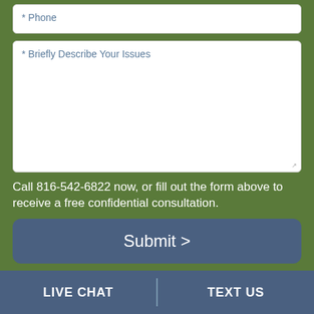* Phone
* Briefly Describe Your Issues
Call 816-542-6822 now, or fill out the form above to receive a free confidential consultation.
Submit >
LIVE CHAT
TEXT US